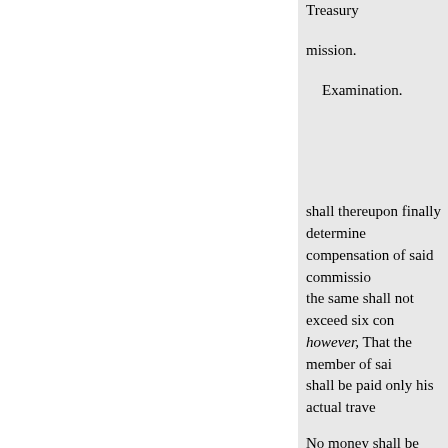Treasury
mission.
Examination.
shall thereupon finally determine the compensation of said commissio... the same shall not exceed six con... however, That the member of sai... shall be paid only his actual trave...
No money shall be used for the p... building shall be vested in the Un... States exclusive jurisdiction over... thereof, for all purposes except th... process therein.
The building shall be unexposed each side, including streets and a...
Approved, January 21, 1891.